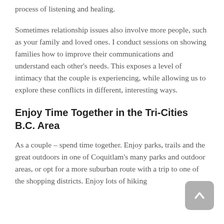process of listening and healing.
Sometimes relationship issues also involve more people, such as your family and loved ones. I conduct sessions on showing families how to improve their communications and understand each other's needs. This exposes a level of intimacy that the couple is experiencing, while allowing us to explore these conflicts in different, interesting ways.
Enjoy Time Together in the Tri-Cities B.C. Area
As a couple – spend time together. Enjoy parks, trails and the great outdoors in one of Coquitlam's many parks and outdoor areas, or opt for a more suburban route with a trip to one of the shopping districts. Enjoy lots of hiking